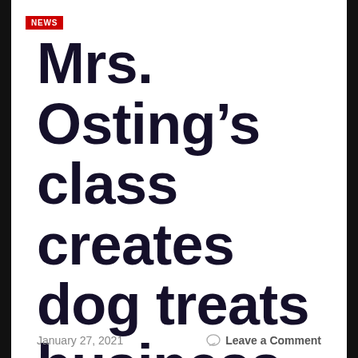NEWS
Mrs. Osting’s class creates dog treats business
January 27, 2021   Leave a Comment